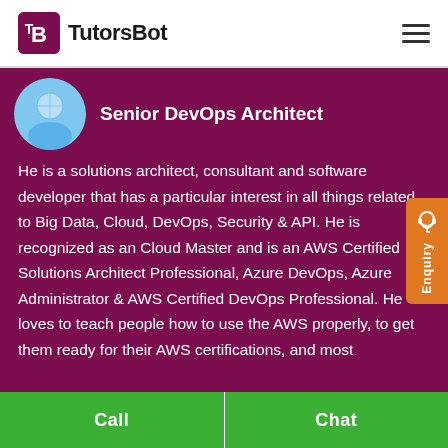[Figure (logo): TutorsBot logo with purple T/B icon and text]
Senior DevOps Architect
He is a solutions architect, consultant and software developer that has a particular interest in all things related to Big Data, Cloud, DevOps, Security & API. He is recognized as an Cloud Master and is an AWS Certified Solutions Architect Professional, Azure DevOps, Azure Administrator & AWS Certified DevOps Professional. He loves to teach people how to use the AWS properly, to get them ready for their AWS certifications, and most
Call   Chat